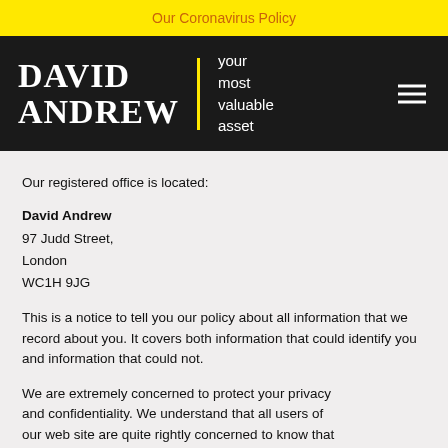Our Coronavirus Policy
[Figure (logo): David Andrew logo with tagline 'your most valuable asset' on dark background with yellow divider bar and hamburger menu icon]
Our registered office is located:
David Andrew
97 Judd Street,
London
WC1H 9JG
This is a notice to tell you our policy about all information that we record about you. It covers both information that could identify you and information that could not.
We are extremely concerned to protect your privacy and confidentiality. We understand that all users of our web site are quite rightly concerned to know that their data will not be used for any purpose unintended by them, and will not accidentally fall into the hands of a third party. Our policy is both specific and strict. It complies with UK law. If you think our policy falls short of your expectations or that we are failing to abide by our policy, do not hesitate to tell us.